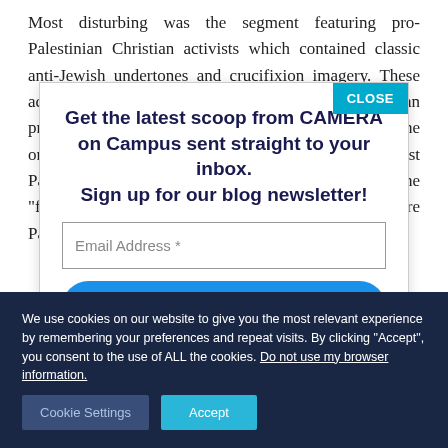Most disturbing was the segment featuring pro-Palestinian Christian activists which contained classic anti-Jewish undertones and crucifixion imagery. These activists blame Israel for the disappearing Christian presence in the Holy Land, without acknowledging the ongoing attacks by Palestinian Muslims against Palestinian Christians, and of course the fact that the "first converts to the teachings of Jesus were Palestinians." The first...
[Figure (screenshot): Newsletter signup popup overlay for CAMERA on Campus with a close button, email address input field, subscribe button, and privacy disclaimer]
[Figure (screenshot): Cookie consent banner at the bottom of the page with Cookie Settings and Accept buttons]